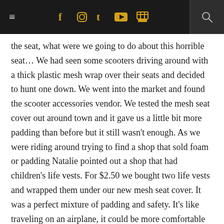≡  f  ⊡  t  ▶  🛒  🔍
the seat, what were we going to do about this horrible seat… We had seen some scooters driving around with a thick plastic mesh wrap over their seats and decided to hunt one down. We went into the market and found the scooter accessories vendor. We tested the mesh seat cover out around town and it gave us a little bit more padding than before but it still wasn't enough. As we were riding around trying to find a shop that sold foam or padding Natalie pointed out a shop that had children's life vests. For $2.50 we bought two life vests and wrapped them under our new mesh seat cover. It was a perfect mixture of padding and safety. It's like traveling on an airplane, it could be more comfortable and there